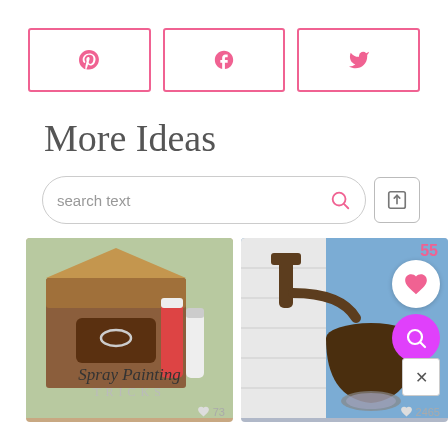[Figure (screenshot): Social share buttons row: Pinterest (P), Facebook (f), Twitter (bird icon) — pink bordered rectangles]
More Ideas
[Figure (screenshot): Search bar with placeholder text 'search text', pink magnifier icon, and upload/share icon button]
[Figure (screenshot): Card 1: Spray painting supplies in a cardboard box, labeled 'Spray Painting TRICKS' with heart/like count 73]
[Figure (screenshot): Card 2: Outdoor bronze wall lantern, 55 saves, pink heart circle button, purple search circle button, X close button, like count 2465]